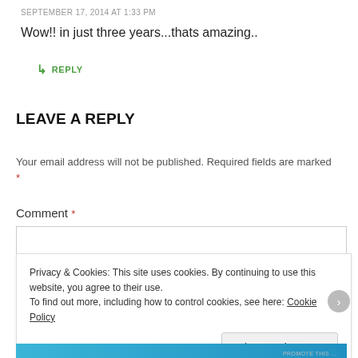SEPTEMBER 17, 2014 AT 1:33 PM
Wow!! in just three years...thats amazing..
↳ REPLY
LEAVE A REPLY
Your email address will not be published. Required fields are marked *
Comment *
Privacy & Cookies: This site uses cookies. By continuing to use this website, you agree to their use. To find out more, including how to control cookies, see here: Cookie Policy
Close and accept